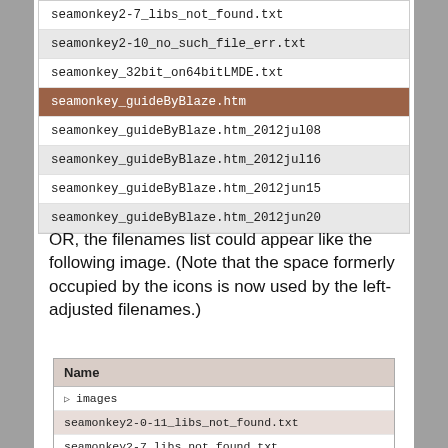seamonkey2-7_libs_not_found.txt
seamonkey2-10_no_such_file_err.txt
seamonkey_32bit_on64bitLMDE.txt
seamonkey_guideByBlaze.htm
seamonkey_guideByBlaze.htm_2012jul08
seamonkey_guideByBlaze.htm_2012jul16
seamonkey_guideByBlaze.htm_2012jun15
seamonkey_guideByBlaze.htm_2012jun20
OR, the filenames list could appear like the following image. (Note that the space formerly occupied by the icons is now used by the left-adjusted filenames.)
[Figure (screenshot): A file manager window showing a list of files without icons, left-adjusted. The list shows: Name header, images folder, seamonkey2-0-11_libs_not_found.txt (highlighted), seamonkey2-7_libs_not_found.txt, seamonkey2-10_no_such_file_err.txt]